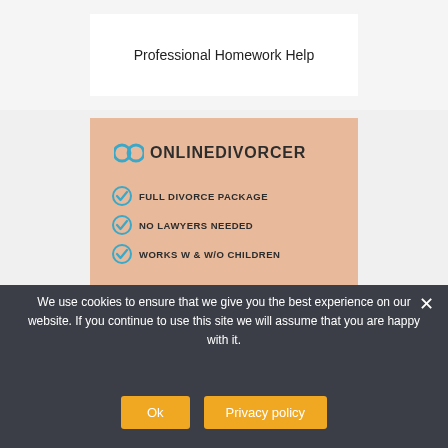Professional Homework Help
[Figure (infographic): OnlineDivorcer advertisement on peach background with logo, checklist of features (Full Divorce Package, No Lawyers Needed, Works W & W/O Children), and dark banner reading DIVORCE ONLINE]
We use cookies to ensure that we give you the best experience on our website. If you continue to use this site we will assume that you are happy with it.
Ok
Privacy policy